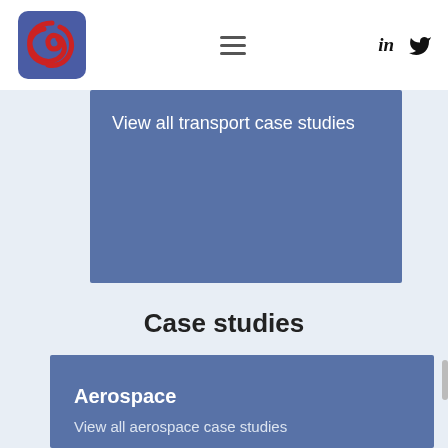[Figure (logo): CCS company logo — red swirl on blue square background]
[Figure (other): Hamburger menu icon (three horizontal lines)]
[Figure (other): LinkedIn 'in' icon and Twitter bird icon]
View all transport case studies
Case studies
Aerospace
View all aerospace case studies